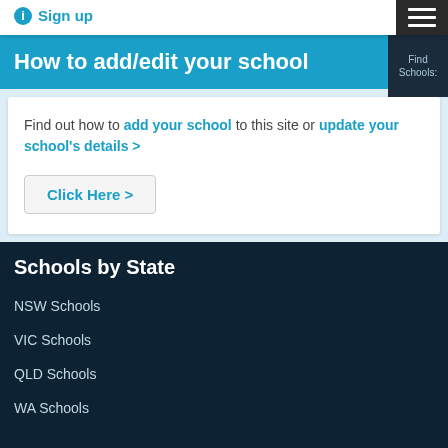Sign up
How to add/edit your school
Find out how to add your school to this site or update your school's details >
Click Here >
Schools by State
NSW Schools
VIC Schools
QLD Schools
WA Schools